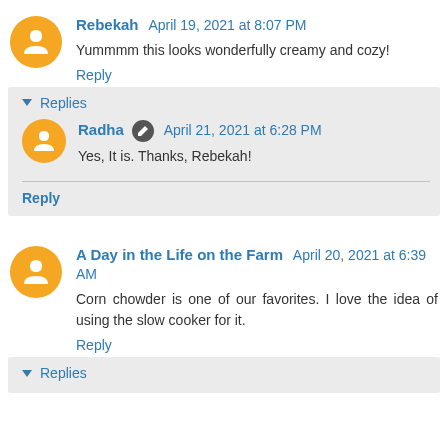Rebekah April 19, 2021 at 8:07 PM
Yummmm this looks wonderfully creamy and cozy!
Reply
Replies
Radha April 21, 2021 at 6:28 PM
Yes, It is. Thanks, Rebekah!
Reply
A Day in the Life on the Farm April 20, 2021 at 6:39 AM
Corn chowder is one of our favorites. I love the idea of using the slow cooker for it.
Reply
Replies